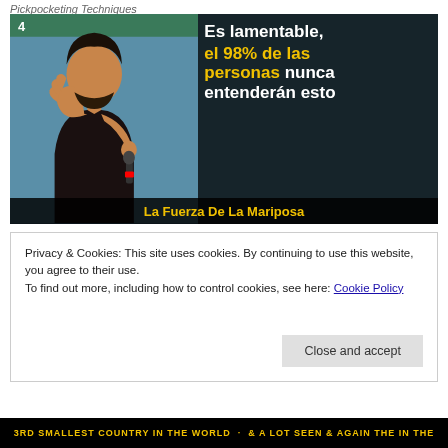Pickpocketing Techniques
[Figure (photo): Meme image of a man holding a microphone with Spanish text overlay reading 'Es lamentable, el 98% de las personas nunca entenderán esto' and caption 'La Fuerza De La Mariposa']
Privacy & Cookies: This site uses cookies. By continuing to use this website, you agree to their use.
To find out more, including how to control cookies, see here: Cookie Policy
Close and accept
[Figure (photo): Partial yellow and black banner at bottom with text partially visible]